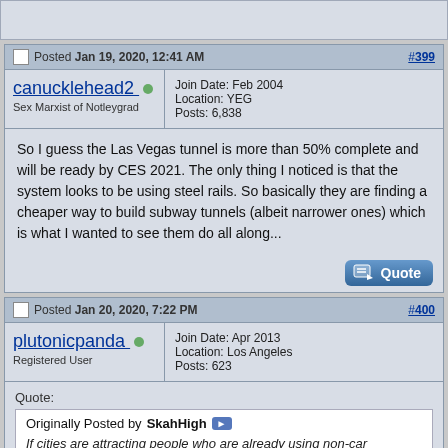Posted Jan 19, 2020, 12:41 AM #399
canucklehead2 [online]
Sex Marxist of Notleygrad
Join Date: Feb 2004
Location: YEG
Posts: 6,838
So I guess the Las Vegas tunnel is more than 50% complete and will be ready by CES 2021. The only thing I noticed is that the system looks to be using steel rails. So basically they are finding a cheaper way to build subway tunnels (albeit narrower ones) which is what I wanted to see them do all along...
Posted Jan 20, 2020, 7:22 PM #400
plutonicpanda [online]
Registered User
Join Date: Apr 2013
Location: Los Angeles
Posts: 623
Quote:
Originally Posted by SkahHigh
If cities are attracting people who are already using non-car transport, how can you explain modal shifts like the one London experienced when it introduced it's policies? Car usage going down 12% in favor of public transport is